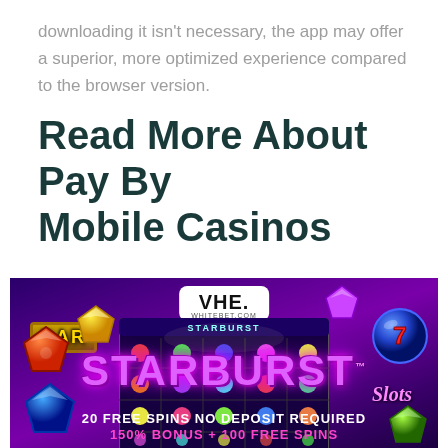downloading it isn't necessary, the app may offer a superior, more optimized experience compared to the browser version.
Read More About Pay By Mobile Casinos
[Figure (illustration): Starburst slots casino advertisement banner with purple/violet background, showing slot machine screen, colorful gems, BAR symbol, lucky 7 ball, and text: STARBURST Slots, 20 FREE SPINS NO DEPOSIT REQUIRED, 150% BONUS + 100 FREE SPINS. Whitebet.com logo at top.]